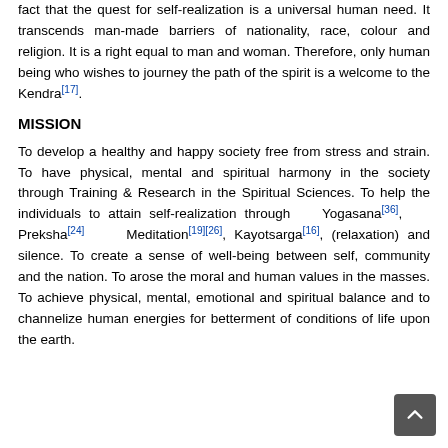fact that the quest for self-realization is a universal human need. It transcends man-made barriers of nationality, race, colour and religion. It is a right equal to man and woman. Therefore, only human being who wishes to journey the path of the spirit is a welcome to the Kendra[17].
MISSION
To develop a healthy and happy society free from stress and strain. To have physical, mental and spiritual harmony in the society through Training & Research in the Spiritual Sciences. To help the individuals to attain self-realization through Yogasana[36], Preksha[24] Meditation[19][26], Kayotsarga[16], (relaxation) and silence. To create a sense of well-being between self, community and the nation. To arose the moral and human values in the masses. To achieve physical, mental, emotional and spiritual balance and to channelize human energies for betterment of conditions of life upon the earth.